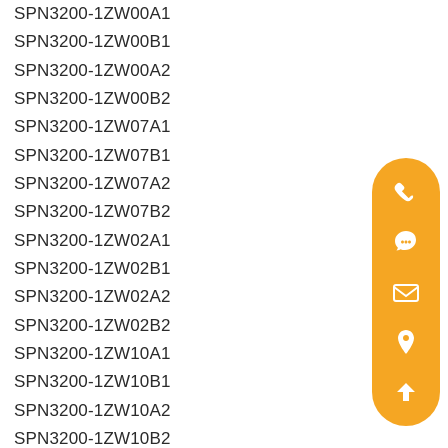SPN3200-1ZW00A1
SPN3200-1ZW00B1
SPN3200-1ZW00A2
SPN3200-1ZW00B2
SPN3200-1ZW07A1
SPN3200-1ZW07B1
SPN3200-1ZW07A2
SPN3200-1ZW07B2
SPN3200-1ZW02A1
SPN3200-1ZW02B1
SPN3200-1ZW02A2
SPN3200-1ZW02B2
SPN3200-1ZW10A1
SPN3200-1ZW10B1
SPN3200-1ZW10A2
SPN3200-1ZW10B2
SPN3200-1ZW17A1
SPN3200-1ZW17B1
SPN3200-1ZW17A2
[Figure (infographic): Orange rounded rectangle sidebar with phone, chat/QQ, email, location pin, and up-arrow icons in white]